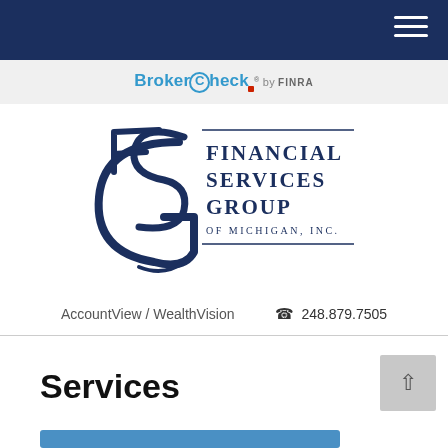BrokerCheck by FINRA
[Figure (logo): Financial Services Group of Michigan, Inc. logo with stylized FSG monogram in dark navy]
AccountView / WealthVision     📞 248.879.7505
Services
[Figure (photo): Partial photo strip at the bottom showing people]